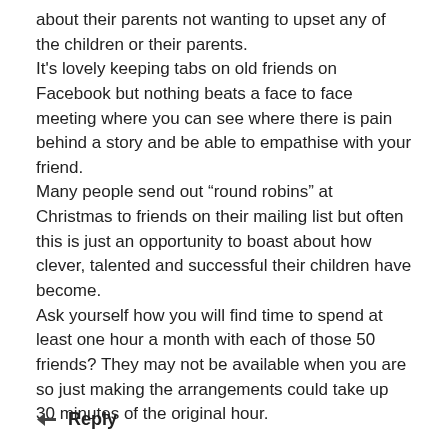about their parents not wanting to upset any of the children or their parents.
It's lovely keeping tabs on old friends on Facebook but nothing beats a face to face meeting where you can see where there is pain behind a story and be able to empathise with your friend.
Many people send out “round robins” at Christmas to friends on their mailing list but often this is just an opportunity to boast about how clever, talented and successful their children have become.
Ask yourself how you will find time to spend at least one hour a month with each of those 50 friends? They may not be available when you are so just making the arrangements could take up 30 minutes of the original hour.
Reply